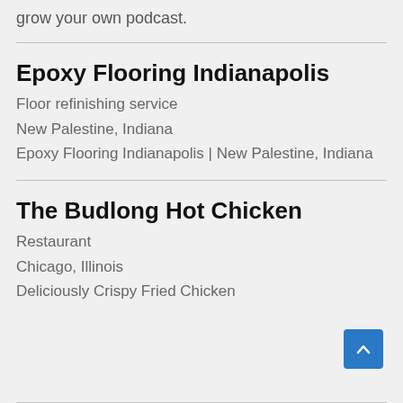grow your own podcast.
Epoxy Flooring Indianapolis
Floor refinishing service
New Palestine, Indiana
Epoxy Flooring Indianapolis | New Palestine, Indiana
The Budlong Hot Chicken
Restaurant
Chicago, Illinois
Deliciously Crispy Fried Chicken